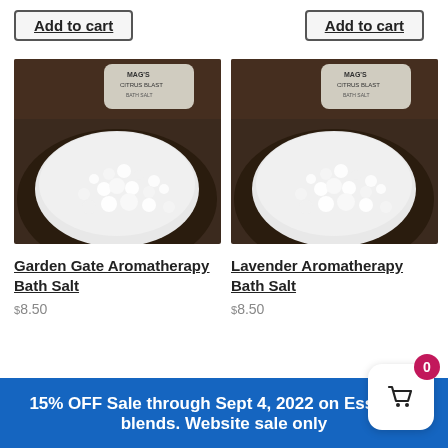Add to cart
Add to cart
[Figure (photo): Photo of white bath salts in a dark bowl with a product jar labeled MAG'S CITRUS BLAST in background (Garden Gate Aromatherapy Bath Salt)]
[Figure (photo): Photo of white bath salts in a dark bowl with a product jar labeled MAG'S CITRUS BLAST in background (Lavender Aromatherapy Bath Salt)]
Garden Gate Aromatherapy Bath Salt
Lavender Aromatherapy Bath Salt
$8.50
$8.50
15% OFF Sale through Sept 4, 2022 on Essential blends. Website sale only